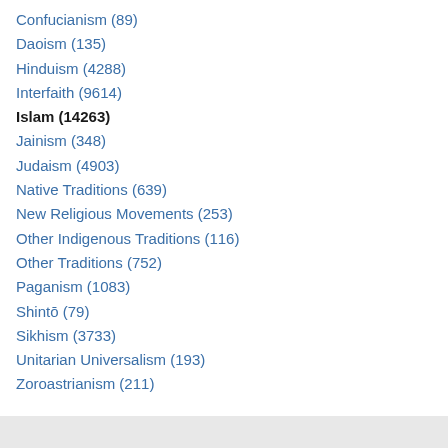Confucianism (89)
Daoism (135)
Hinduism (4288)
Interfaith (9614)
Islam (14263)
Jainism (348)
Judaism (4903)
Native Traditions (639)
New Religious Movements (253)
Other Indigenous Traditions (116)
Other Traditions (752)
Paganism (1083)
Shintō (79)
Sikhism (3733)
Unitarian Universalism (193)
Zoroastrianism (211)